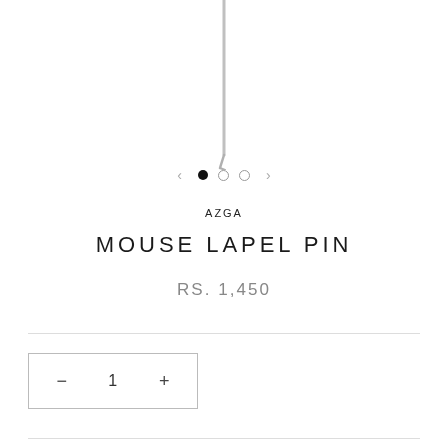[Figure (photo): Partial view of a lapel pin needle/stem against white background, cropped at top]
< • ○ ○ >
AZGA
MOUSE LAPEL PIN
RS. 1,450
— 1 +